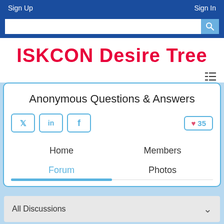Sign Up    Sign In
ISKCON Desire Tree
Anonymous Questions & Answers
Home    Members    Forum    Photos
All Discussions